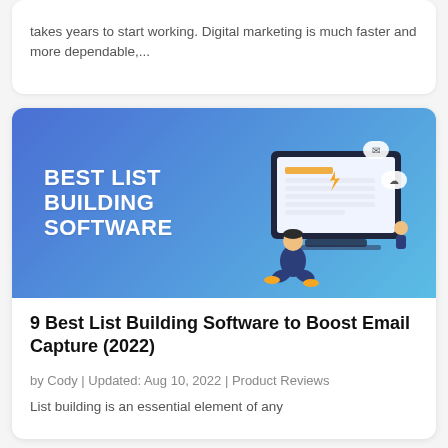takes years to start working. Digital marketing is much faster and more dependable,...
[Figure (illustration): Banner image with blue-to-cyan gradient background showing the text 'BEST LIST BUILDING SOFTWARE' in bold white on the left side, and an illustration of a person sitting in front of a large laptop screen with a form/list on it, with notification icons, on the right side.]
9 Best List Building Software to Boost Email Capture (2022)
by Cody | Updated: Aug 10, 2022 | Product Reviews
List building is an essential element of any